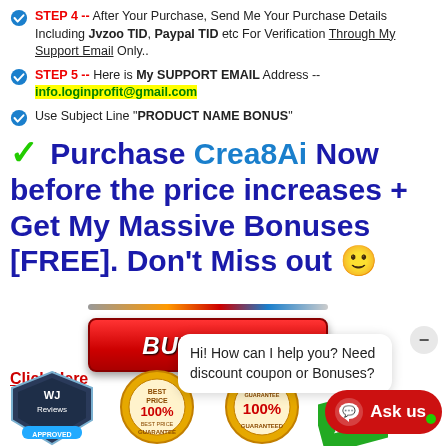STEP 4 -- After Your Purchase, Send Me Your Purchase Details Including Jvzoo TID, Paypal TID etc For Verification Through My Support Email Only..
STEP 5 -- Here is My SUPPORT EMAIL Address -- info.loginprofit@gmail.com
Use Subject Line "PRODUCT NAME BONUS"
✓ Purchase Crea8Ai Now before the price increases + Get My Massive Bonuses [FREE]. Don't Miss out 🙂
[Figure (other): Red BUY NOW! button]
Click Here
Hi! How can I help you? Need discount coupon or Bonuses?
[Figure (other): WJ Reviews Approved badge, Best Price 100% Guarantee badge, Money Back Guarantee 100% Guaranteed badge, Ask us chat button, Bonus ribbon]